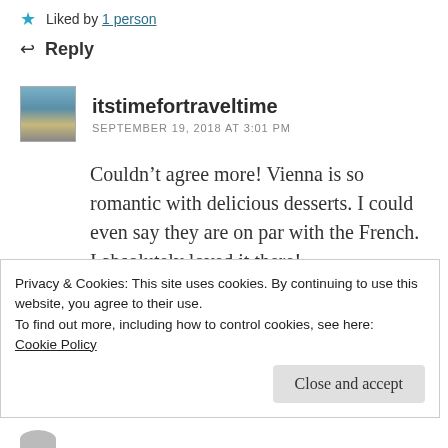★ Liked by 1 person
↩ Reply
itstimefortraveltime
SEPTEMBER 19, 2018 AT 3:01 PM
Couldn't agree more! Vienna is so romantic with delicious desserts. I could even say they are on par with the French. I absolutely loved it there!
Privacy & Cookies: This site uses cookies. By continuing to use this website, you agree to their use.
To find out more, including how to control cookies, see here:
Cookie Policy
Close and accept